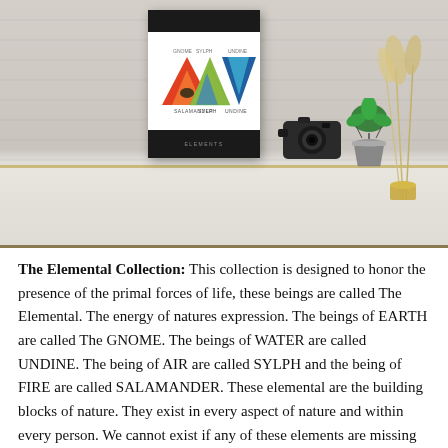[Figure (photo): A lifestyle/product photo showing a poster mounted on a white brick wall above a shelf. On the shelf are a black camera, a green plant in a gray pot, and dried grass in a gold vase. The poster features triangular elemental symbols (fire, earth, water, air) in red, green, blue and teal on a white background with black header and footer bars.]
The Elemental Collection: This collection is designed to honor the presence of the primal forces of life, these beings are called The Elemental. The energy of natures expression. The beings of EARTH are called The GNOME. The beings of WATER are called UNDINE. The being of AIR are called SYLPH and the being of FIRE are called SALAMANDER. These elemental are the building blocks of nature. They exist in every aspect of nature and within every person. We cannot exist if any of these elements are missing from our life. Respect nature. Take care of Nature. Our designs in this collection are based on all four elements of nature. The elements used is the very basic form of nature